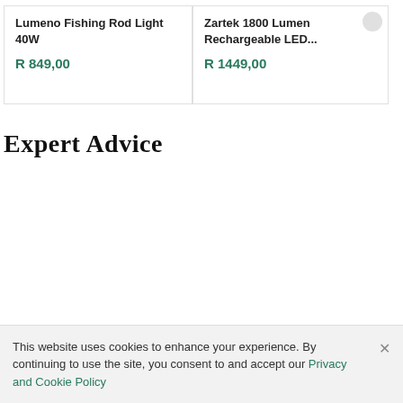Lumeno Fishing Rod Light 40W
R 849,00
Zartek 1800 Lumen Rechargeable LED...
R 1449,00
Expert Advice
This website uses cookies to enhance your experience. By continuing to use the site, you consent to and accept our Privacy and Cookie Policy